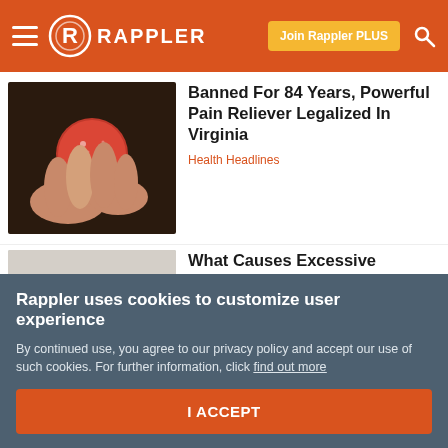Rappler — Join Rappler PLUS
[Figure (photo): Hand holding a red round candy or pill-like object against a dark background]
Banned For 84 Years, Powerful Pain Reliever Legalized In Virginia
Health Headlines
[Figure (photo): Elderly man sleeping in a chair with arms crossed, wearing glasses and a dark sweater]
What Causes Excessive Daytime Sleepiness? Some May Wish They Realized Sooner
Narcolepsy | Search Ads
Rappler uses cookies to customize user experience
By continued use, you agree to our privacy policy and accept our use of such cookies. For further information, click find out more
I ACCEPT